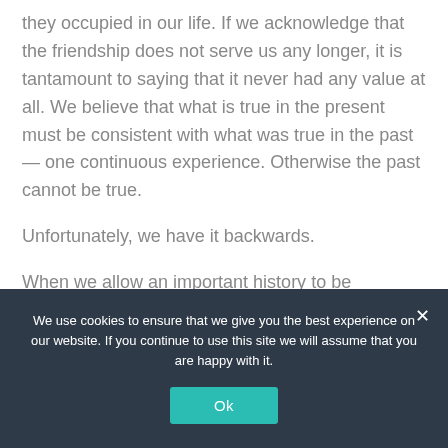they occupied in our life. If we acknowledge that the friendship does not serve us any longer, it is tantamount to saying that it never had any value at all. We believe that what is true in the present must be consistent with what was true in the past — one continuous experience. Otherwise the past cannot be true.

Unfortunately, we have it backwards.

When we allow an important history to be infiltrated with resentment and un-friendly feelings, we are in fact not honoring the friendship and not treating it with the...
We use cookies to ensure that we give you the best experience on our website. If you continue to use this site we will assume that you are happy with it.